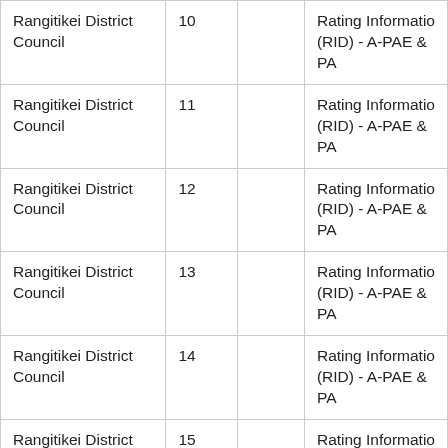| Rangitikei District Council | 10 |  | Rating Information (RID) - A-PAE & PA |
| Rangitikei District Council | 11 |  | Rating Information (RID) - A-PAE & PA |
| Rangitikei District Council | 12 |  | Rating Information (RID) - A-PAE & PA |
| Rangitikei District Council | 13 |  | Rating Information (RID) - A-PAE & PA |
| Rangitikei District Council | 14 |  | Rating Information (RID) - A-PAE & PA |
| Rangitikei District Council | 15 |  | Rating Information (RID) - A-PAE & PA |